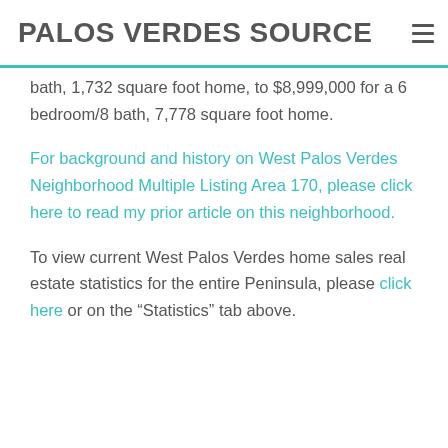PALOS VERDES SOURCE
bath, 1,732 square foot home, to $8,999,000 for a 6 bedroom/8 bath, 7,778 square foot home.
For background and history on West Palos Verdes Neighborhood Multiple Listing Area 170, please click here to read my prior article on this neighborhood.
To view current West Palos Verdes home sales real estate statistics for the entire Peninsula, please click here or on the “Statistics” tab above.